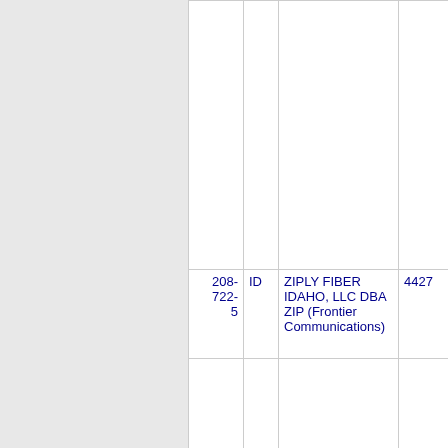| 208-722-5 | ID | ZIPLY FIBER IDAHO, LLC DBA ZIP (Frontier Communications) | 4427 |
| --- | --- | --- | --- |
| 208-722-5 | ID | ZIPLY FIBER IDAHO, LLC DBA ZIP (Frontier Communications) | 4427 |